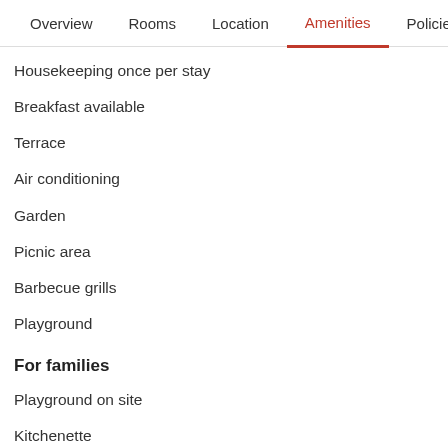Overview  Rooms  Location  Amenities  Policies  Reviews
Housekeeping once per stay
Breakfast available
Terrace
Air conditioning
Garden
Picnic area
Barbecue grills
Playground
For families
Playground on site
Kitchenette
Private bathroom
Garden
Terrace
LED TV